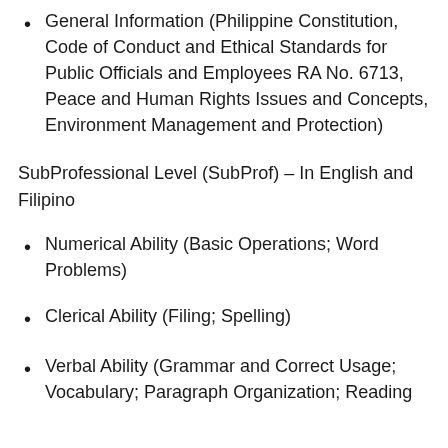General Information (Philippine Constitution, Code of Conduct and Ethical Standards for Public Officials and Employees RA No. 6713, Peace and Human Rights Issues and Concepts, Environment Management and Protection)
SubProfessional Level (SubProf) – In English and Filipino
Numerical Ability (Basic Operations; Word Problems)
Clerical Ability (Filing; Spelling)
Verbal Ability (Grammar and Correct Usage; Vocabulary; Paragraph Organization; Reading